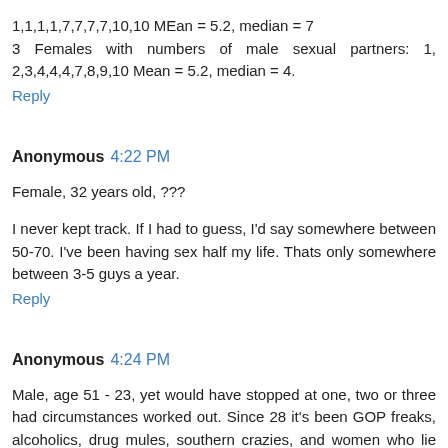1,1,1,1,7,7,7,7,10,10 MEan = 5.2, median = 7
3 Females with numbers of male sexual partners: 1, 2,3,4,4,4,7,8,9,10 Mean = 5.2, median = 4.
Reply
Anonymous 4:22 PM
Female, 32 years old, ???
I never kept track. If I had to guess, I'd say somewhere between 50-70. I've been having sex half my life. Thats only somewhere between 3-5 guys a year.
Reply
Anonymous 4:24 PM
Male, age 51 - 23, yet would have stopped at one, two or three had circumstances worked out. Since 28 it's been GOP freaks, alcoholics, drug mules, southern crazies, and women who lie about being married. That bromide about age and fine wine is total BS.